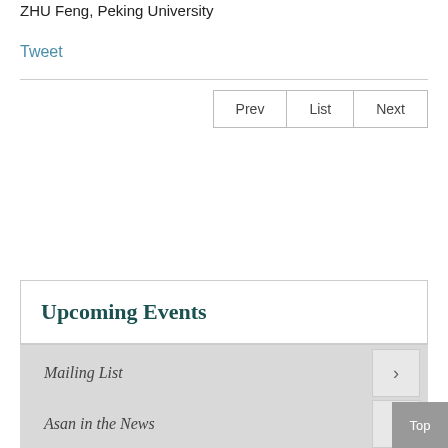ZHU Feng, Peking University
Tweet
| Prev | List | Next |
| --- | --- | --- |
Upcoming Events
Mailing List
Asan in the News